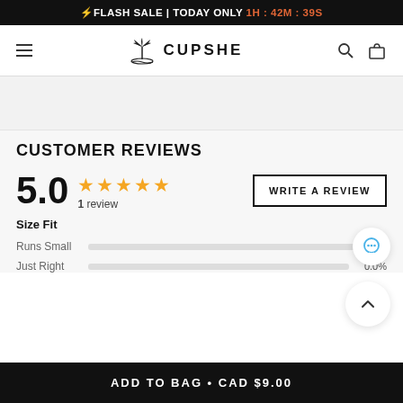⚡FLASH SALE | TODAY ONLY 1H : 42M : 39S
[Figure (logo): Cupshe logo with palm tree icon and brand name]
[Figure (photo): Product image area (blank/grey)]
CUSTOMER REVIEWS
5.0  ★★★★★  1 review
WRITE A REVIEW
Size Fit
Runs Small
Just Right   0.0%
ADD TO BAG • CAD $9.00